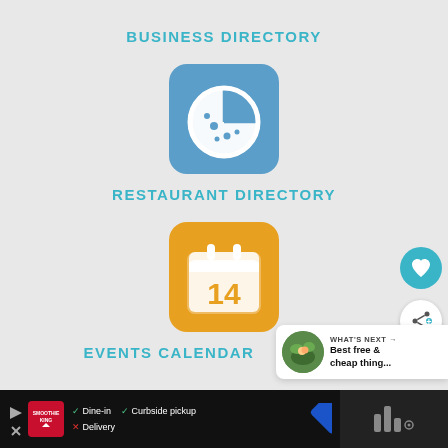BUSINESS DIRECTORY
[Figure (illustration): Blue rounded square icon with white pizza graphic]
RESTAURANT DIRECTORY
[Figure (illustration): Orange/yellow rounded square icon with white calendar showing number 14]
EVENTS CALENDAR
[Figure (illustration): Partial green rounded square icon visible at bottom]
[Figure (illustration): Teal circle with heart icon (favorite button)]
[Figure (illustration): White circle with share icon]
[Figure (screenshot): What's Next panel with thumbnail and text: Best free & cheap thing...]
[Figure (screenshot): Ad banner: Smoothie King - Dine-in checkmark, Curbside pickup checkmark, Delivery X]